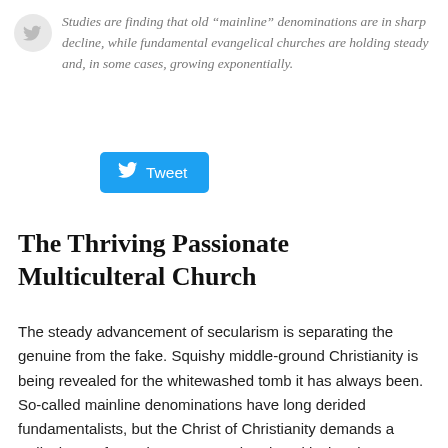Studies are finding that old “mainline” denominations are in sharp decline, while fundamental evangelical churches are holding steady and, in some cases, growing exponentially.
[Figure (other): Twitter Tweet button with bird logo, blue rounded rectangle button labeled Tweet]
The Thriving Passionate Multiculteral Church
The steady advancement of secularism is separating the genuine from the fake. Squishy middle-ground Christianity is being revealed for the whitewashed tomb it has always been. So-called mainline denominations have long derided fundamentalists, but the Christ of Christianity demands a radical, transformative, countercultural, multicultural, unashamed, uncompromising Church.